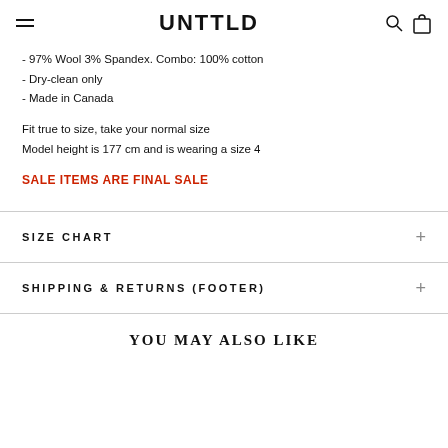UNTTLD
- 97% Wool 3% Spandex. Combo: 100% cotton
- Dry-clean only
- Made in Canada
Fit true to size, take your normal size
Model height is 177 cm and is wearing a size 4
SALE ITEMS ARE FINAL SALE
SIZE CHART
SHIPPING & RETURNS (FOOTER)
YOU MAY ALSO LIKE